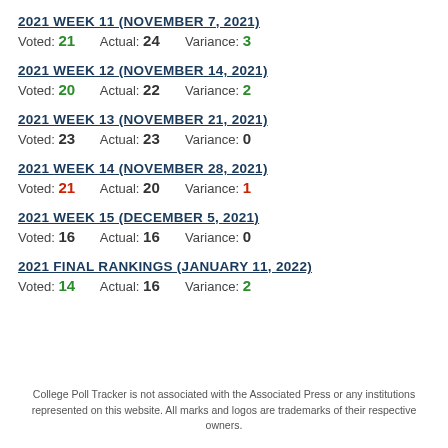2021 Week 11 (November 7, 2021)
Voted: 21    Actual: 24    Variance: 3
2021 Week 12 (November 14, 2021)
Voted: 20    Actual: 22    Variance: 2
2021 Week 13 (November 21, 2021)
Voted: 23    Actual: 23    Variance: 0
2021 Week 14 (November 28, 2021)
Voted: 21    Actual: 20    Variance: 1
2021 Week 15 (December 5, 2021)
Voted: 16    Actual: 16    Variance: 0
2021 Final Rankings (January 11, 2022)
Voted: 14    Actual: 16    Variance: 2
College Poll Tracker is not associated with the Associated Press or any institutions represented on this website. All marks and logos are trademarks of their respective owners.